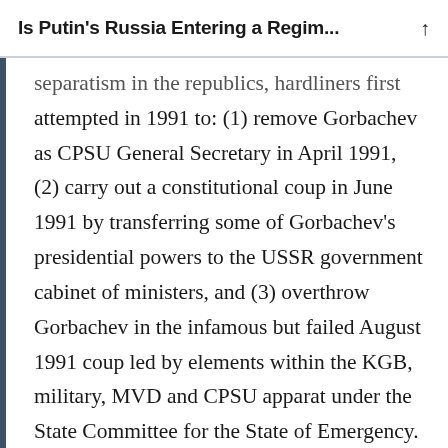Is Putin's Russia Entering a Regim...
separatism in the republics, hardliners first attempted in 1991 to: (1) remove Gorbachev as CPSU General Secretary in April 1991, (2) carry out a constitutional coup in June 1991 by transferring some of Gorbachev's presidential powers to the USSR government cabinet of ministers, and (3) overthrow Gorbachev in the infamous but failed August 1991 coup led by elements within the KGB, military, MVD and CPSU apparat under the State Committee for the State of Emergency. The above is not a full list of the reforms and machinations surrounding institutional design and the political struggle for and against reform during perestroika.